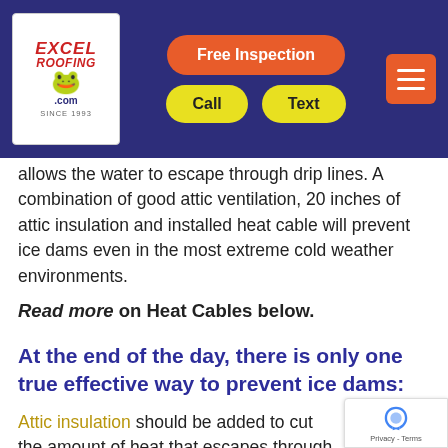[Figure (logo): Excel Roofing .com logo with frog mascot, navigation bar with Free Inspection button (orange), Call and Text buttons (yellow), and hamburger menu (orange) on dark blue/navy background]
allows the water to escape through drip lines. A combination of good attic ventilation, 20 inches of attic insulation and installed heat cable will prevent ice dams even in the most extreme cold weather environments.
Read more on Heat Cables below.
At the end of the day, there is only one true effective way to prevent ice dams:
Attic insulation should be added to cut the amount of heat that escapes through the r…